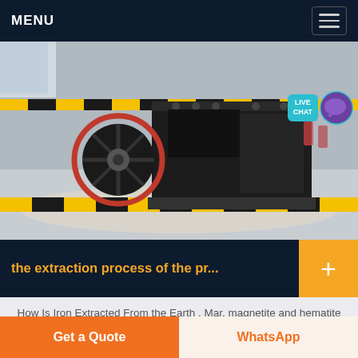MENU
[Figure (photo): Industrial crusher machine on a factory floor with yellow and black safety barriers, crushed stone on the ground, orange circular flywheel visible on the left side of the machine.]
the extraction process of the pr...
How Is Iron Extracted From the Earth . Mar, magnetite and hematite are iron oxides however, the extraction of iron from an iron oxide involves a series of steps that begins when mined iron ore is crushed into smaller
Get a Quote | WhatsApp